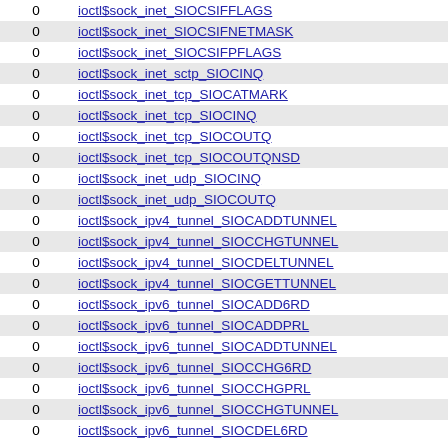|  |  |
| --- | --- |
| 0 | ioctl$sock_inet_SIOCSIFFLAGS |
| 0 | ioctl$sock_inet_SIOCSIFNETMASK |
| 0 | ioctl$sock_inet_SIOCSIFPFLAGS |
| 0 | ioctl$sock_inet_sctp_SIOCINQ |
| 0 | ioctl$sock_inet_tcp_SIOCATMARK |
| 0 | ioctl$sock_inet_tcp_SIOCINQ |
| 0 | ioctl$sock_inet_tcp_SIOCOUTQ |
| 0 | ioctl$sock_inet_tcp_SIOCOUTQNSD |
| 0 | ioctl$sock_inet_udp_SIOCINQ |
| 0 | ioctl$sock_inet_udp_SIOCOUTQ |
| 0 | ioctl$sock_ipv4_tunnel_SIOCADDTUNNEL |
| 0 | ioctl$sock_ipv4_tunnel_SIOCCHGTUNNEL |
| 0 | ioctl$sock_ipv4_tunnel_SIOCDELTUNNEL |
| 0 | ioctl$sock_ipv4_tunnel_SIOCGETTUNNEL |
| 0 | ioctl$sock_ipv6_tunnel_SIOCADD6RD |
| 0 | ioctl$sock_ipv6_tunnel_SIOCADDPRL |
| 0 | ioctl$sock_ipv6_tunnel_SIOCADDTUNNEL |
| 0 | ioctl$sock_ipv6_tunnel_SIOCCHG6RD |
| 0 | ioctl$sock_ipv6_tunnel_SIOCCHGPRL |
| 0 | ioctl$sock_ipv6_tunnel_SIOCCHGTUNNEL |
| 0 | ioctl$sock_ipv6_tunnel_SIOCDEL6RD |